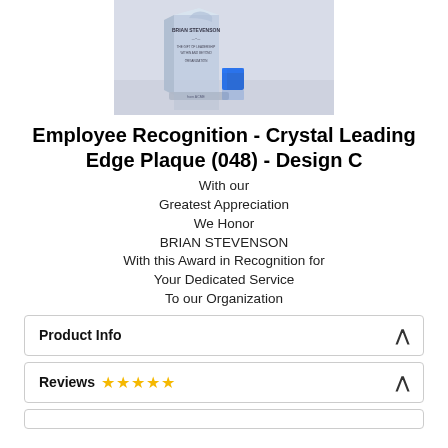[Figure (photo): Crystal Leading Edge Plaque award with blue accent and engraved name BRIAN STEVENSON]
Employee Recognition - Crystal Leading Edge Plaque (048) - Design C
With our
Greatest Appreciation
We Honor
BRIAN STEVENSON
With this Award in Recognition for
Your Dedicated Service
To our Organization
Product Info
Reviews ★★★★★